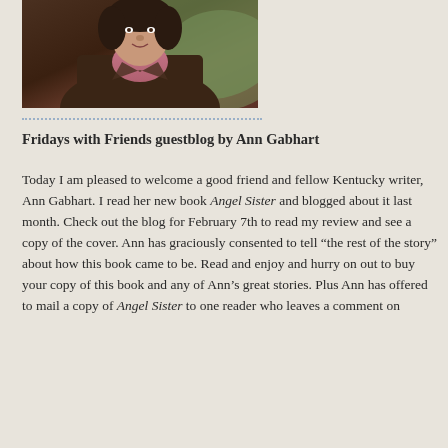[Figure (photo): Portrait photo of Ann Gabhart, a woman wearing a dark brown jacket and pink shirt, photographed outdoors with green foliage in the background.]
Fridays with Friends guestblog by Ann Gabhart
Today I am pleased to welcome a good friend and fellow Kentucky writer, Ann Gabhart. I read her new book Angel Sister and blogged about it last month. Check out the blog for February 7th to read my review and see a copy of the cover. Ann has graciously consented to tell “the rest of the story” about how this book came to be. Read and enjoy and hurry on out to buy your copy of this book and any of Ann’s great stories. Plus Ann has offered to mail a copy of Angel Sister to one reader who leaves a comment on